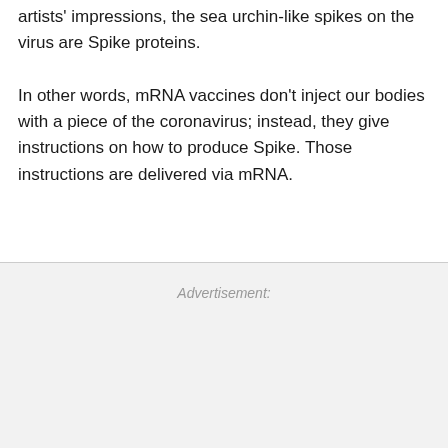artists' impressions, the sea urchin-like spikes on the virus are Spike proteins.
In other words, mRNA vaccines don't inject our bodies with a piece of the coronavirus; instead, they give instructions on how to produce Spike. Those instructions are delivered via mRNA.
Advertisement: